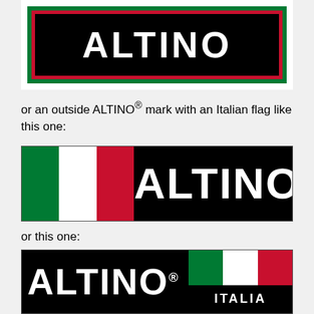[Figure (logo): ALTINO logo with green, red and black borders showing text ALTINO in white on black background (partial top view)]
or an outside ALTINO® mark with an Italian flag like this one:
[Figure (logo): ALTINO® logo with Italian flag (green, white, red stripes) on left side and ALTINO® text in white on black background]
or this one:
[Figure (logo): ALTINO® logo with ALTINO® text in white on black background on left, and Italian flag with ITALIA text on right]